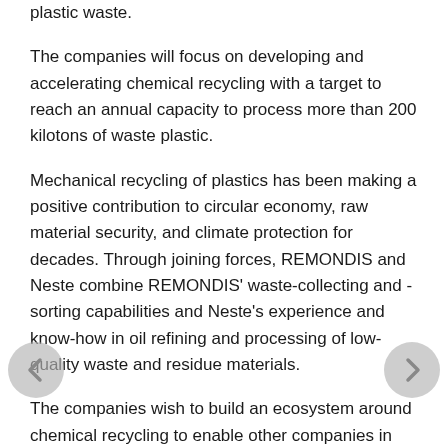plastic waste.
The companies will focus on developing and accelerating chemical recycling with a target to reach an annual capacity to process more than 200 kilotons of waste plastic.
Mechanical recycling of plastics has been making a positive contribution to circular economy, raw material security, and climate protection for decades. Through joining forces, REMONDIS and Neste combine REMONDIS' waste-collecting and -sorting capabilities and Neste's experience and know-how in oil refining and processing of low-quality waste and residue materials.
The companies wish to build an ecosystem around chemical recycling to enable other companies in the value chain to join the initiative and complement mechanical recycling by closing the material circle also for those plastics that today are difficult or impossible to recycle.
Chemical recycling of plastics breaks down plastic waste into a raw material for the plastics and chemicals